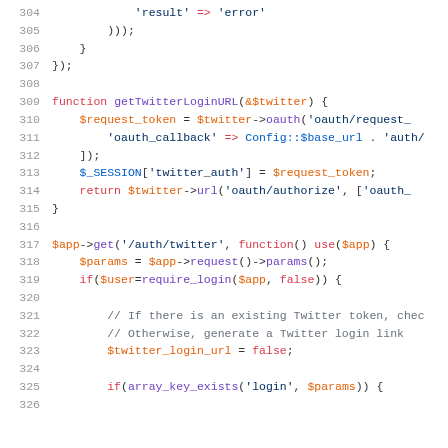[Figure (screenshot): PHP source code snippet showing lines 304-325, including a getTwitterLoginURL function and an $app->get('/auth/twitter') route handler with OAuth authentication logic.]